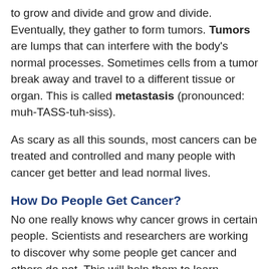to grow and divide and grow and divide. Eventually, they gather to form tumors. Tumors are lumps that can interfere with the body's normal processes. Sometimes cells from a tumor break away and travel to a different tissue or organ. This is called metastasis (pronounced: muh-TASS-tuh-siss).
As scary as all this sounds, most cancers can be treated and controlled and many people with cancer get better and lead normal lives.
How Do People Get Cancer?
No one really knows why cancer grows in certain people. Scientists and researchers are working to discover why some people get cancer and others do not. This will help them to learn whether cancer can be prevented.